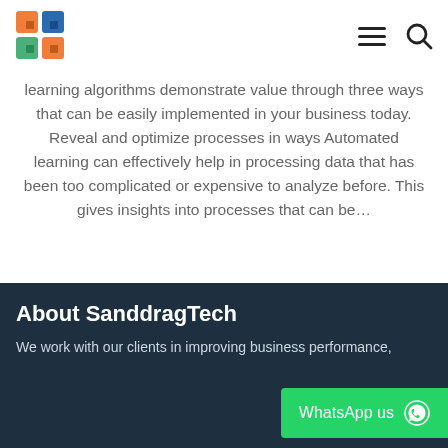SanddragTech logo and navigation bar
learning algorithms demonstrate value through three ways that can be easily implemented in your business today. Reveal and optimize processes in ways Automated learning can effectively help in processing data that has been too complicated or expensive to analyze before. This gives insights into processes that can be...
READ MORE
About SanddragTech
We work with our clients in improving business performance,
WhatsApp us